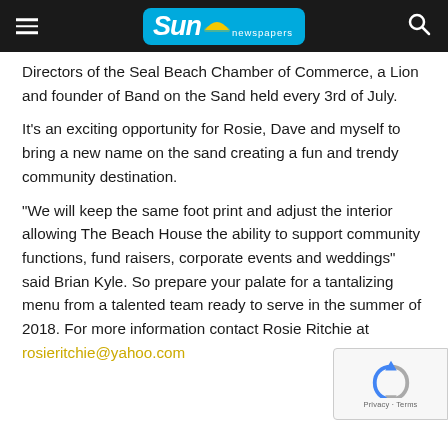Sun newspapers
Directors of the Seal Beach Chamber of Commerce, a Lion and founder of Band on the Sand held every 3rd of July.
It's an exciting opportunity for Rosie, Dave and myself to bring a new name on the sand creating a fun and trendy community destination.
“We will keep the same foot print and adjust the interior allowing The Beach House the ability to support community functions, fund raisers, corporate events and weddings” said Brian Kyle. So prepare your palate for a tantalizing menu from a talented team ready to serve in the summer of 2018. For more information contact Rosie Ritchie at rosieritchie@yahoo.com
[Figure (other): reCAPTCHA widget showing a circular arrow icon with 'Privacy - Terms' text]